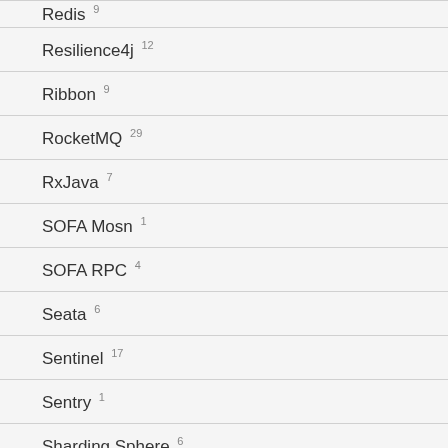Redis 9
Resilience4j 12
Ribbon 9
RocketMQ 29
RxJava 7
SOFA Mosn 1
SOFA RPC 4
Seata 6
Sentinel 17
Sentry 1
Sharding Sphere 6